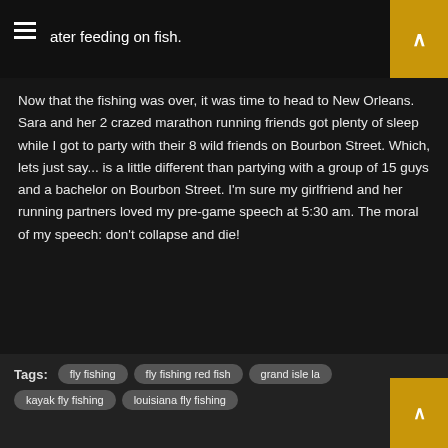ater feeding on fish.
Now that the fishing was over, it was time to head to New Orleans. Sara and her 2 crazed marathon running friends got plenty of sleep while I got to party with their 8 wild friends on Bourbon Street. Which, lets just say... is a little different than partying with a group of 15 guys and a bachelor on Bourbon Street. I'm sure my girlfriend and her running partners loved my pre-game speech at 5:30 am. The moral of my speech: don't collapse and die!
Share this with someone in China
[Figure (screenshot): Facebook Like button showing 0 likes]
[Figure (screenshot): Pinterest Pin it button]
[Figure (screenshot): Twitter Tweet button]
Tags: fly fishing  fly fishing red fish  grand isle la  kayak fly fishing  louisiana fly fishing